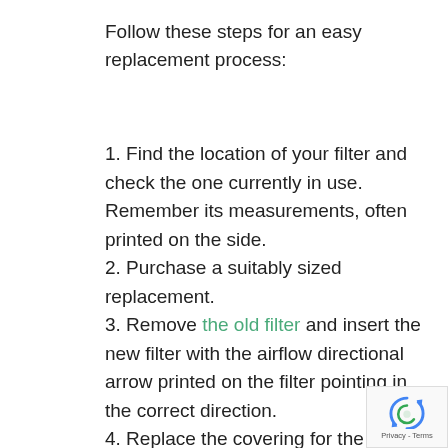Follow these steps for an easy replacement process:
1. Find the location of your filter and check the one currently in use. Remember its measurements, often printed on the side.
2. Purchase a suitably sized replacement.
3. Remove the old filter and insert the new filter with the airflow directional arrow printed on the filter pointing in the correct direction.
4. Replace the covering for the filter and turn your air conditioning unit back on.
5. Mark down on your calendar when you replaced the filter, so you remember when is time for the next swap.
[Figure (logo): reCAPTCHA badge with rotating arrows logo and Privacy - Terms text]